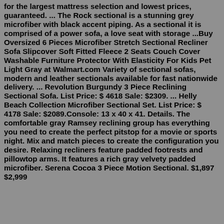for the largest mattress selection and lowest prices, guaranteed. ... The Rock sectional is a stunning grey microfiber with black accent piping. As a sectional it is comprised of a power sofa, a love seat with storage ...Buy Oversized 6 Pieces Microfiber Stretch Sectional Recliner Sofa Slipcover Soft Fitted Fleece 2 Seats Couch Cover Washable Furniture Protector With Elasticity For Kids Pet Light Gray at Walmart.com Variety of sectional sofas, modern and leather sectionals available for fast nationwide delivery. ... Revolution Burgundy 3 Piece Reclining Sectional Sofa. List Price: $ 4618 Sale: $2309. ... Helly Beach Collection Microfiber Sectional Set. List Price: $ 4178 Sale: $2089.Console: 13 x 40 x 41. Details. The comfortable gray Ramsey reclining group has everything you need to create the perfect pitstop for a movie or sports night. Mix and match pieces to create the configuration you desire. Relaxing recliners feature padded footrests and pillowtop arms. It features a rich gray velvety padded microfiber. Serena Cocoa 3 Piece Motion Sectional. $1,897 $2,999